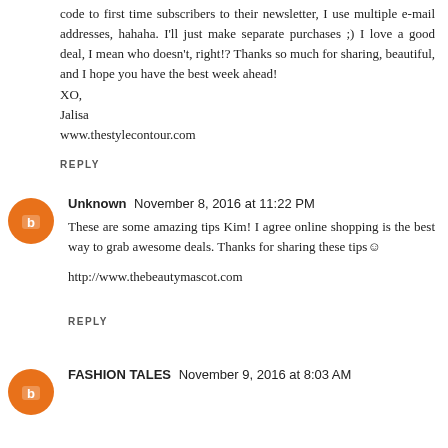code to first time subscribers to their newsletter, I use multiple e-mail addresses, hahaha. I'll just make separate purchases ;) I love a good deal, I mean who doesn't, right!? Thanks so much for sharing, beautiful, and I hope you have the best week ahead!
XO,
Jalisa
www.thestylecontour.com
REPLY
Unknown  November 8, 2016 at 11:22 PM
These are some amazing tips Kim! I agree online shopping is the best way to grab awesome deals. Thanks for sharing these tips☺
http://www.thebeautymascot.com
REPLY
FASHION TALES  November 9, 2016 at 8:03 AM